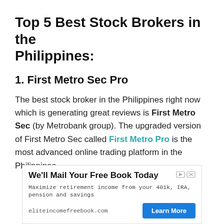Top 5 Best Stock Brokers in the Philippines:
1. First Metro Sec Pro
The best stock broker in the Philippines right now which is generating great reviews is First Metro Sec (by Metrobank group). The upgraded version of First Metro Sec called First Metro Pro is the most advanced online trading platform in the Philippines.
[Figure (other): Advertisement banner: 'We'll Mail Your Free Book Today' - Maximize retirement income from your 401k, IRA, pension and savings. eliteincomefreebook.com. Learn More button.]